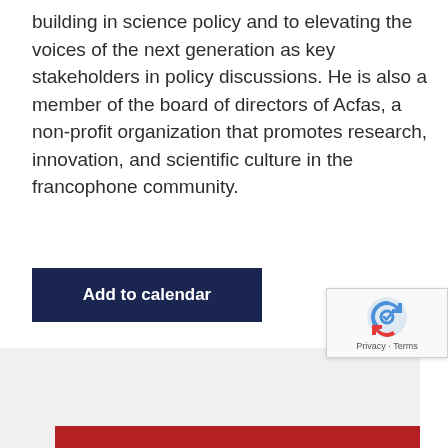building in science policy and to elevating the voices of the next generation as key stakeholders in policy discussions. He is also a member of the board of directors of Acfas, a non-profit organization that promotes research, innovation, and scientific culture in the francophone community.
Add to calendar
[Figure (other): reCAPTCHA widget with Privacy and Terms links at bottom right of page]